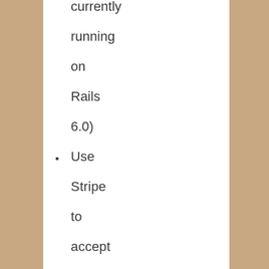currently running on Rails 6.0)
Use Stripe to accept payments for paid plans
Deploy a marketing web